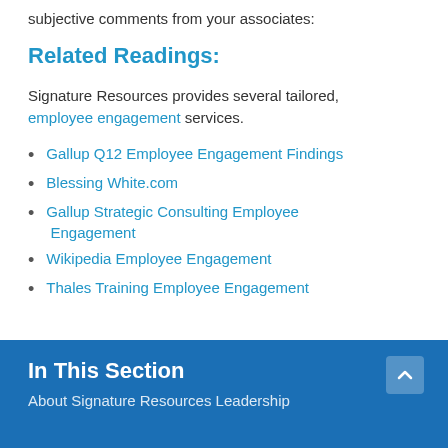subjective comments from your associates:
Related Readings:
Signature Resources provides several tailored, employee engagement services.
Gallup Q12 Employee Engagement Findings
Blessing White.com
Gallup Strategic Consulting Employee Engagement
Wikipedia Employee Engagement
Thales Training Employee Engagement
In This Section
About Signature Resources Leadership